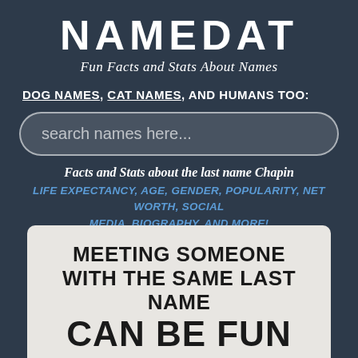NAMEDAT
Fun Facts and Stats About Names
DOG NAMES, CAT NAMES, AND HUMANS TOO:
search names here...
Facts and Stats about the last name Chapin
LIFE EXPECTANCY, AGE, GENDER, POPULARITY, NET WORTH, SOCIAL MEDIA, BIOGRAPHY, AND MORE! ABOUT THE DATA
MEETING SOMEONE WITH THE SAME LAST NAME CAN BE FUN